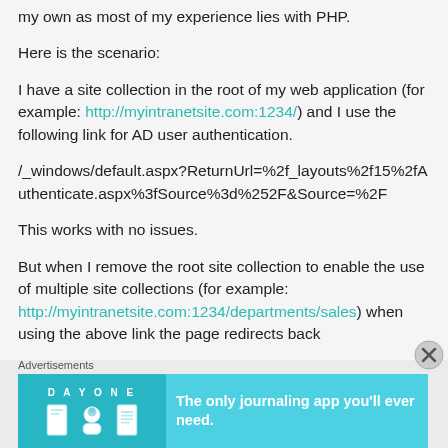my own as most of my experience lies with PHP.
Here is the scenario:
I have a site collection in the root of my web application (for example: http://myintranetsite.com:1234/) and I use the following link for AD user authentication.
/_windows/default.aspx?ReturnUrl=%2f_layouts%2f15%2fAuthenticate.aspx%3fSource%3d%252F&Source=%2F
This works with no issues.
But when I remove the root site collection to enable the use of multiple site collections (for example: http://myintranetsite.com:1234/departments/sales) when using the above link the page redirects back
Advertisements
[Figure (illustration): Day One journaling app advertisement banner with teal background, app icons, and text: The only journaling app you'll ever need.]